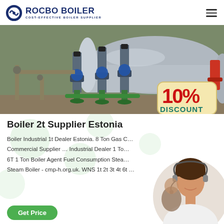ROCBO BOILER — COST-EFFECTIVE BOILER SUPPLIER
[Figure (photo): Industrial boiler room with large cylindrical boiler tank, multiple vertical pump units with blue motors and green pipe fittings, piping and valves visible. A 10% DISCOUNT badge overlaid in lower right.]
Boiler 2t Supplier Estonia
Boiler Industrial 1t Dealer Estonia. 8 Ton Gas C… Commercial Supplier … Industrial Dealer 1 To… 6T 1 Ton Boiler Agent Fuel Consumption Stea… Steam Boiler - cmp-h.org.uk. WNS 1t 2t 3t 4t 6t …